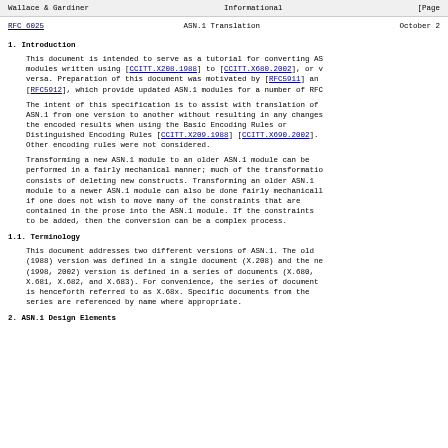Wallace & Gardiner    Informational    [Page
RFC 6025    ASN.1 Translation    October 2
1.  Introduction
This document is intended to serve as a tutorial for converting AS modules written using [CCITT.X208.1988] to [CCITT.X680.2002], or v versa. Preparation of this document was motivated by [RFC5911] an [RFC5912], which provide updated ASN.1 modules for a number of RFC
The intent of this specification is to assist with translation of ASN.1 from one version to another without resulting in any changes the encoded results when using the Basic Encoding Rules or Distinguished Encoding Rules [CCITT.X209.1988] [CCITT.X690.2002]. Other encoding rules were not considered.
Transforming a new ASN.1 module to an older ASN.1 module can be performed in a fairly mechanical manner; much of the transformatio consists of deleting new constructs. Transforming an older ASN.1 module to a newer ASN.1 module can also be done fairly mechanicall if one does not wish to move many of the constraints that are contained in the prose into the ASN.1 module. If the constraints to be added, then the conversion can be a complex process.
1.1.  Terminology
This document addresses two different versions of ASN.1. The old (1988) version was defined in a single document (X.208) and the ne (1998, 2002) version is defined in a series of documents (X.680, X.681, X.682, and X.683). For convenience, the series of document is henceforth referred to as X.68x. Specific documents from the series are referenced by name where appropriate.
2.  ASN.1 Design Elements